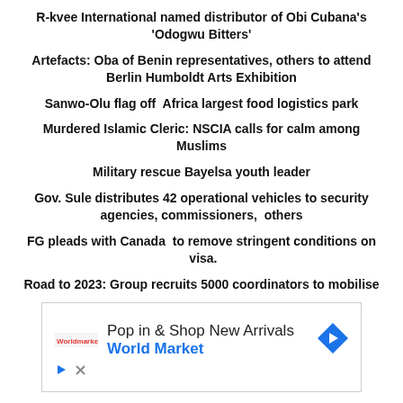R-kvee International named distributor of Obi Cubana's 'Odogwu Bitters'
Artefacts: Oba of Benin representatives, others to attend Berlin Humboldt Arts Exhibition
Sanwo-Olu flag off  Africa largest food logistics park
Murdered Islamic Cleric: NSCIA calls for calm among Muslims
Military rescue Bayelsa youth leader
Gov. Sule distributes 42 operational vehicles to security agencies, commissioners,  others
FG pleads with Canada  to remove stringent conditions on  visa.
Road to 2023: Group recruits 5000 coordinators to mobilise
[Figure (infographic): Advertisement box for World Market: 'Pop in & Shop New Arrivals / World Market' with logo, navigation arrow icon, play button and close button.]